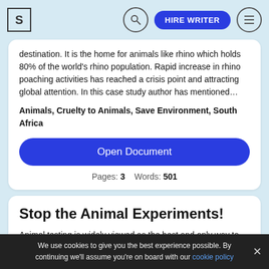S | [search] HIRE WRITER [menu]
destination. It is the home for animals like rhino which holds 80% of the world's rhino population. Rapid increase in rhino poaching activities has reached a crisis point and attracting global attention. In this case study author has mentioned…
Animals, Cruelty to Animals, Save Environment, South Africa
Open Document
Pages: 3    Words: 501
Stop the Animal Experiments!
Animal testing is widely viewed as the best and only way to
We use cookies to give you the best experience possible. By continuing we'll assume you're on board with our cookie policy